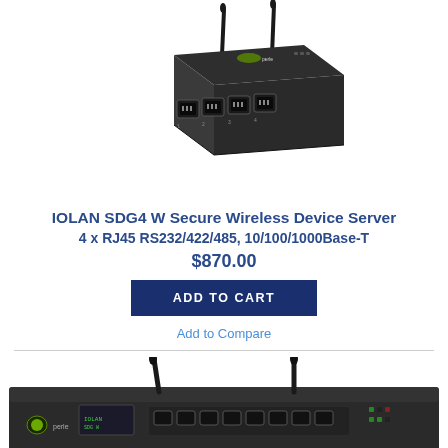[Figure (photo): IOLAN SDG4 W Secure Wireless Device Server hardware photo – dark metal box with two antennas and four RJ45 ports on front]
IOLAN SDG4 W Secure Wireless Device Server
4 x RJ45 RS232/422/485, 10/100/1000Base-T
$870.00
ADD TO CART
Add to Compare
[Figure (photo): Second wireless device server product photo – dark rack-mount unit with two antennas, partially visible at bottom of page]